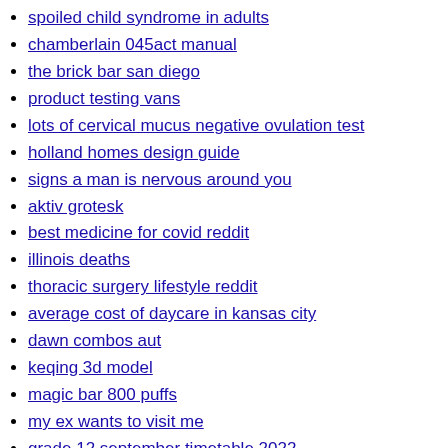aetna jobs indeed
spoiled child syndrome in adults
chamberlain 045act manual
the brick bar san diego
product testing vans
lots of cervical mucus negative ovulation test
holland homes design guide
signs a man is nervous around you
aktiv grotesk
best medicine for covid reddit
illinois deaths
thoracic surgery lifestyle reddit
average cost of daycare in kansas city
dawn combos aut
keqing 3d model
magic bar 800 puffs
my ex wants to visit me
grade 12 september timetable 2022
grammar workbook pdf grade 7
linda frickey twitter
how to seal wood burned cutting board
louisville zoo
houses for rent in hancock county maine
little girl captions for instagram
cindy uh creative artists agency